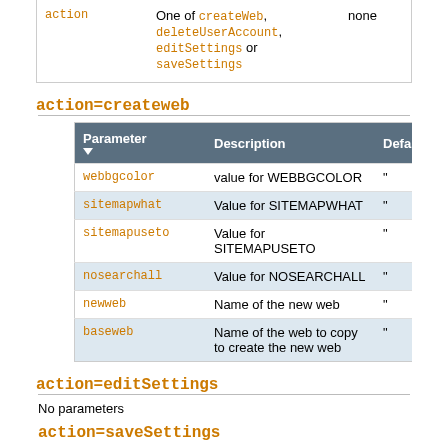| action |  | none |
| --- | --- | --- |
| action | One of createWeb, deleteUserAccount, editSettings or saveSettings | none |
action=createweb
| Parameter | Description | Default |
| --- | --- | --- |
| webbgcolor | value for WEBBGCOLOR | " |
| sitemapwhat | Value for SITEMAPWHAT | " |
| sitemapuseto | Value for SITEMAPUSETO | " |
| nosearchall | Value for NOSEARCHALL | " |
| newweb | Name of the new web | " |
| baseweb | Name of the web to copy to create the new web | " |
action=editSettings
No parameters
action=saveSettings